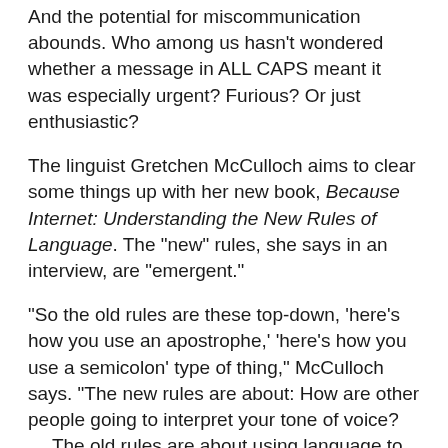And the potential for miscommunication abounds. Who among us hasn’t wondered whether a message in ALL CAPS meant it was especially urgent? Furious? Or just enthusiastic?
The linguist Gretchen McCulloch aims to clear some things up with her new book, Because Internet: Understanding the New Rules of Language. The “new” rules, she says in an interview, are “emergent.”
“So the old rules are these top-down, ‘here’s how you use an apostrophe,’ ‘here’s how you use a semicolon’ type of thing,” McCulloch says. “The new rules are about: How are other people going to interpret your tone of voice? … The old rules are about using language to demonstrate intellectual superiority, and the new rules are about using language to create connection between people.”
McCulloch says a lot of the confusion stems from the fact that people read Internet writing…